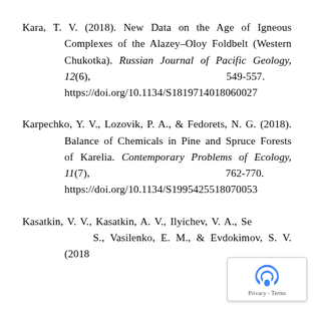Kara, T. V. (2018). New Data on the Age of Igneous Complexes of the Alazey–Oloy Foldbelt (Western Chukotka). Russian Journal of Pacific Geology, 12(6), 549-557. https://doi.org/10.1134/S18197140180600​27
Karpechko, Y. V., Lozovik, P. A., & Fedorets, N. G. (2018). Balance of Chemicals in Pine and Spruce Forests of Karelia. Contemporary Problems of Ecology, 11(7), 762-770. https://doi.org/10.1134/S1995425518070053
Kasatkin, V. V., Kasatkin, A. V., Ilyichev, V. A., Se... S., Vasilenko, E. M., & Evdokimov, S. V. (2018)...